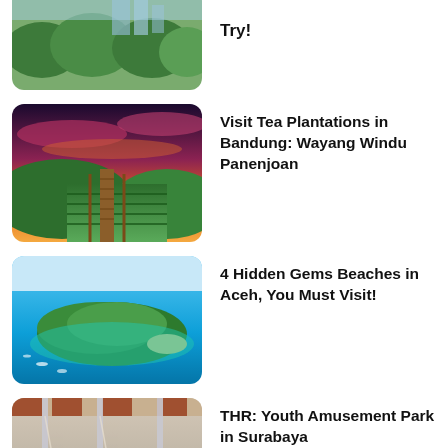[Figure (photo): Aerial view of lush green trees and cityscape in background]
Try!
[Figure (photo): Tea plantation with wooden walkway under dramatic orange-red sunset sky]
Visit Tea Plantations in Bandung: Wayang Windu Panenjoan
[Figure (photo): Aerial view of a tropical island surrounded by turquoise water]
4 Hidden Gems Beaches in Aceh, You Must Visit!
[Figure (photo): Interior of a carousel amusement park ride with children]
THR: Youth Amusement Park in Surabaya